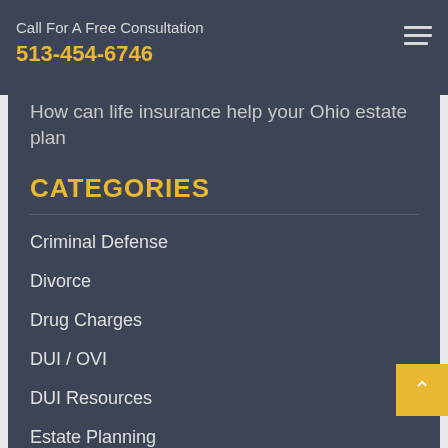Call For A Free Consultation
513-454-6746
How can life insurance help your Ohio estate plan
CATEGORIES
Criminal Defense
Divorce
Drug Charges
DUI / OVI
DUI Resources
Estate Planning
Family Law
Personal Injury